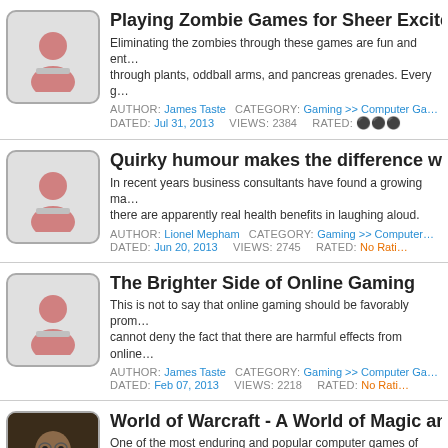Playing Zombie Games for Sheer Excitement - Eliminating the zombies through these games are fun and entertaining through plants, oddball arms, and pancreas grenades. Every g... AUTHOR: James Taste CATEGORY: Gaming >> Computer Ga... DATED: Jul 31, 2013 VIEWS: 2384 RATED: (stars)
Quirky humour makes the difference with B... - In recent years business consultants have found a growing ma... there are apparently real health benefits in laughing aloud. AUTHOR: Lionel Mepham CATEGORY: Gaming >> Computer... DATED: Jun 20, 2013 VIEWS: 2745 RATED: No Rati...
The Brighter Side of Online Gaming - This is not to say that online gaming should be favorably prom... cannot deny the fact that there are harmful effects from online... AUTHOR: James Taste CATEGORY: Gaming >> Computer Ga... DATED: Feb 07, 2013 VIEWS: 2218 RATED: No Rati...
World of Warcraft - A World of Magic and A... - One of the most enduring and popular computer games of the... Entertainment AUTHOR: Penny Rogers CATEGORY: Gaming >> Computer G... DATED: Nov 22, 2012 VIEWS: 2213 RATED: No Rati...